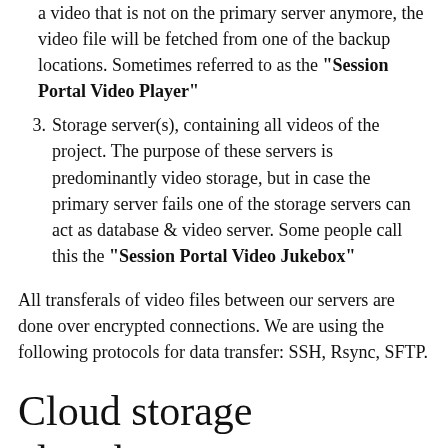a video that is not on the primary server anymore, the video file will be fetched from one of the backup locations. Sometimes referred to as the "Session Portal Video Player"
3. Storage server(s), containing all videos of the project. The purpose of these servers is predominantly video storage, but in case the primary server fails one of the storage servers can act as database & video server. Some people call this the "Session Portal Video Jukebox"
All transferals of video files between our servers are done over encrypted connections. We are using the following protocols for data transfer: SSH, Rsync, SFTP.
Cloud storage elsewhere
Amazon, Google, Microsoft and others all offer cloud